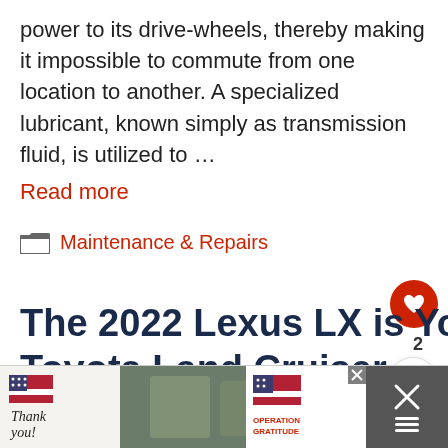power to its drive-wheels, thereby making it impossible to commute from one location to another. A specialized lubricant, known simply as transmission fluid, is utilized to …
Read more
Maintenance & Repairs
The 2022 Lexus LX is Your Upscale Toyota Land Cruiser
[Figure (screenshot): Partial article thumbnail image of a vehicle, partially visible at bottom]
[Figure (infographic): Advertisement banner: Thank you / Operation Gratitude with military imagery and close button]